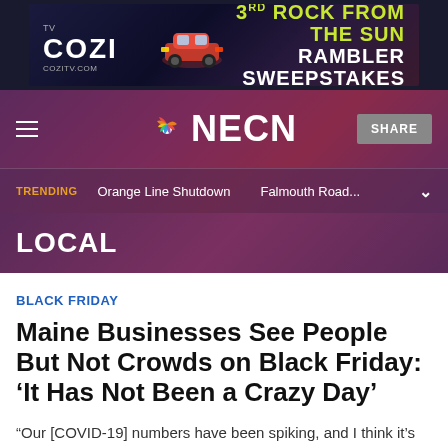[Figure (screenshot): Cozi TV advertisement banner: '3RD ROCK FROM THE SUN RAMBLER SWEEPSTAKES' with cozitv.com branding]
NECN
TRENDING   Orange Line Shutdown   Falmouth Road...
LOCAL
BLACK FRIDAY
Maine Businesses See People But Not Crowds on Black Friday: ‘It Has Not Been a Crazy Day’
“Our [COVID-19] numbers have been spiking, and I think it’s causing fewer people to go out and I can’t blame them,”